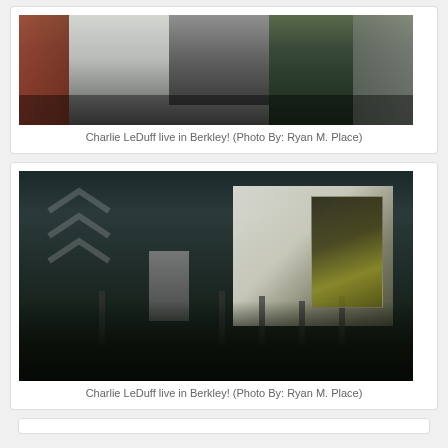[Figure (photo): Charlie LeDuff presenting on stage at Berkley event, arms raised, standing near a whiteboard/easel, wearing a vest]
Charlie LeDuff live in Berkley! (Photo By: Ryan M. Place)
[Figure (photo): Wide shot of Charlie LeDuff speaking at Berkley Public Library event, audience visible in foreground, projected book cover screen visible at right, dark teal decorated background wall with arrow chevrons]
Charlie LeDuff live in Berkley! (Photo By: Ryan M. Place)